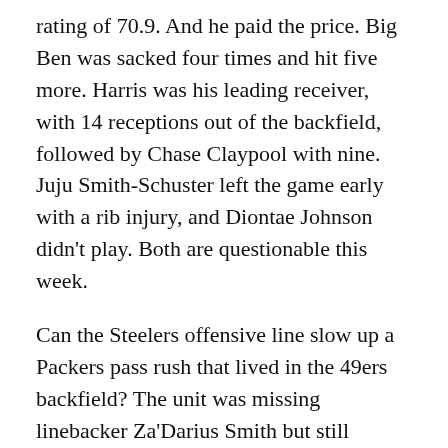rating of 70.9. And he paid the price. Big Ben was sacked four times and hit five more. Harris was his leading receiver, with 14 receptions out of the backfield, followed by Chase Claypool with nine. Juju Smith-Schuster left the game early with a rib injury, and Diontae Johnson didn't play. Both are questionable this week.
Can the Steelers offensive line slow up a Packers pass rush that lived in the 49ers backfield? The unit was missing linebacker Za'Darius Smith but still managed to sack Jimmy Garoppolo four times in Week 3 and hit him 11 more. Garoppolo went 25-40 for 257 yards and two touchdowns. The Packers shut down the 49ers running game, however, allowing just 67 yards on the team's 21 carries.